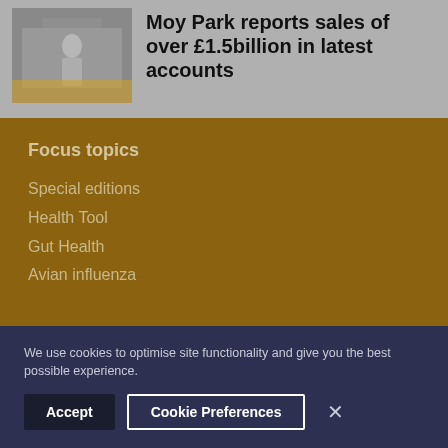[Figure (photo): Small thumbnail photo of a person in athletic wear in front of a building]
Moy Park reports sales of over £1.5billion in latest accounts
Focus topics
Special editions
Health Tool
Gut Health
Avian influenza
We use cookies to optimise site functionality and give you the best possible experience.